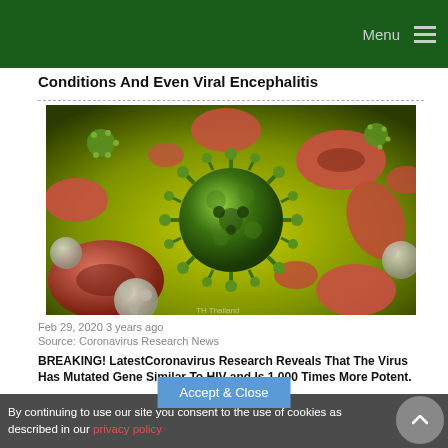Menu
Conditions And Even Viral Encephalitis
[Figure (illustration): 3D medical illustration of a green coronavirus/virus particle surrounded by red blood cells and white blood cells on a yellow-green background]
Feb 29, 2020  3 years ago
Source: Coronavirus Research News
BREAKING! LatestCoronavirus Research Reveals That The Virus Has Mutated Gene Similar To HIV and Is 1,000 Times More Potent.
By continuing to use our site you consent to the use of cookies as described in our privacy policy